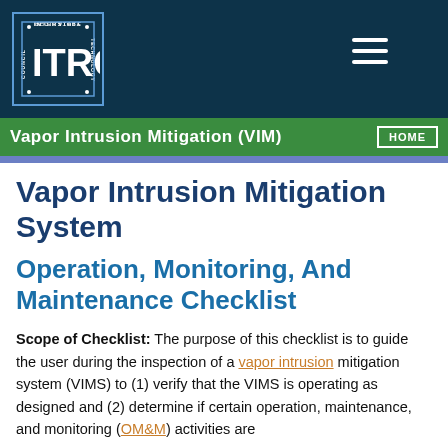[Figure (logo): ITRC Interstate Technology Regulatory Council logo in dark blue box with blue border]
Vapor Intrusion Mitigation (VIM)   HOME
Vapor Intrusion Mitigation System
Operation, Monitoring, And Maintenance Checklist
Scope of Checklist: The purpose of this checklist is to guide the user during the inspection of a vapor intrusion mitigation system (VIMS) to (1) verify that the VIMS is operating as designed and (2) determine if certain operation, maintenance, and monitoring (OM&M) activities are